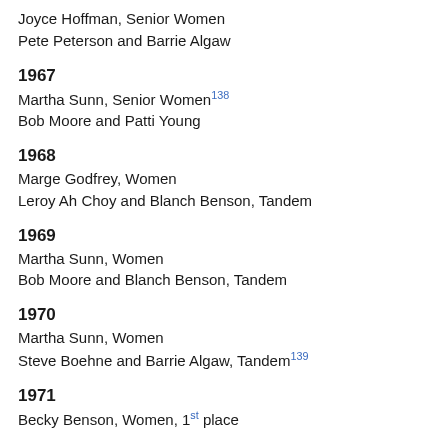Joyce Hoffman, Senior Women
Pete Peterson and Barrie Algaw
1967
Martha Sunn, Senior Women138
Bob Moore and Patti Young
1968
Marge Godfrey, Women
Leroy Ah Choy and Blanch Benson, Tandem
1969
Martha Sunn, Women
Bob Moore and Blanch Benson, Tandem
1970
Martha Sunn, Women
Steve Boehne and Barrie Algaw, Tandem139
1971
Becky Benson, Women, 1st place